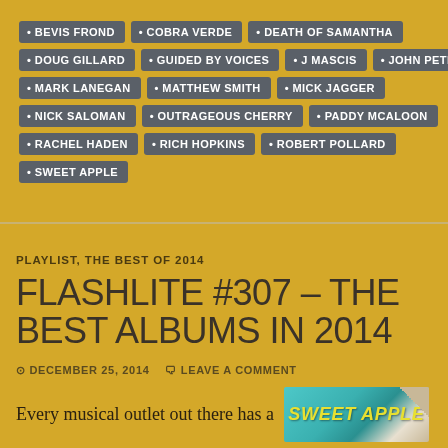BEVIS FROND
COBRA VERDE
DEATH OF SAMANTHA
DOUG GILLARD
GUIDED BY VOICES
J MASCIS
JOHN PETKOVIC
MARK LANEGAN
MATTHEW SMITH
MICK JAGGER
NICK SALOMAN
OUTRAGEOUS CHERRY
PADDY MCALOON
RACHEL HADEN
RICH HOPKINS
ROBERT POLLARD
SWEET APPLE
PLAYLIST, THE BEST OF 2014
FLASHLITE #307 – THE BEST ALBUMS IN 2014
DECEMBER 25, 2014   LEAVE A COMMENT
Every musical outlet out there has a
[Figure (illustration): Sweet Apple album art banner in teal/cyan color with yellow italic text reading SWEET APPLE, with a corner fold effect]